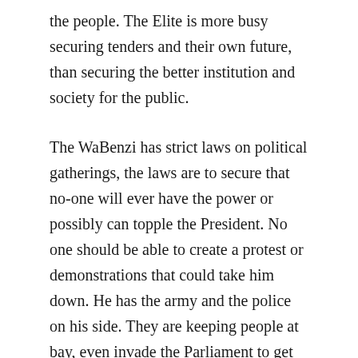the people. The Elite is more busy securing tenders and their own future, than securing the better institution and society for the public.
The WaBenzi has strict laws on political gatherings, the laws are to secure that no-one will ever have the power or possibly can topple the President. No one should be able to create a protest or demonstrations that could take him down. He has the army and the police on his side. They are keeping people at bay, even invade the Parliament to get his will served. The Courts are listening to him and the orders are happening to his service. Opposition leaders can easily find themselves behind bars, the ones who voices against the Movement will easily get into trouble. That is the state of WaBenzi. Where the thieves and murders walk